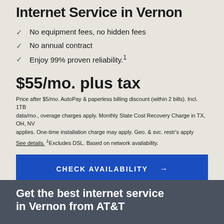Internet Service in Vernon
No equipment fees, no hidden fees
No annual contract
Enjoy 99% proven reliability.¹
$55/mo. plus tax
Price after $5/mo. AutoPay & paperless billing discount (within 2 bills). Incl. 1TB data/mo., overage charges apply. Monthly State Cost Recovery Charge in TX, OH, NV applies. One-time installation charge may apply. Geo. & svc. restr's apply
See details. ¹Excludes DSL. Based on network availability.
CHECK AVAILABILITY →
Get the best internet service in Vernon from AT&T